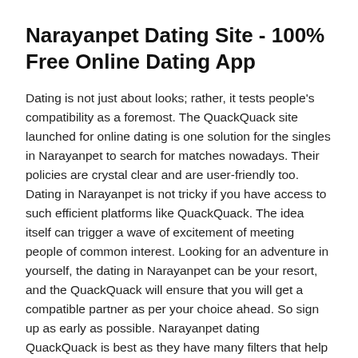Narayanpet Dating Site - 100% Free Online Dating App
Dating is not just about looks; rather, it tests people's compatibility as a foremost. The QuackQuack site launched for online dating is one solution for the singles in Narayanpet to search for matches nowadays. Their policies are crystal clear and are user-friendly too. Dating in Narayanpet is not tricky if you have access to such efficient platforms like QuackQuack. The idea itself can trigger a wave of excitement of meeting people of common interest. Looking for an adventure in yourself, the dating in Narayanpet can be your resort, and the QuackQuack will ensure that you will get a compatible partner as per your choice ahead. So sign up as early as possible. Narayanpet dating QuackQuack is best as they have many filters that help the user to differentiate between people and find the best one they are looking for in Narayanpet. Don't hesitate to ask out and reach out to the best partner for yourself.